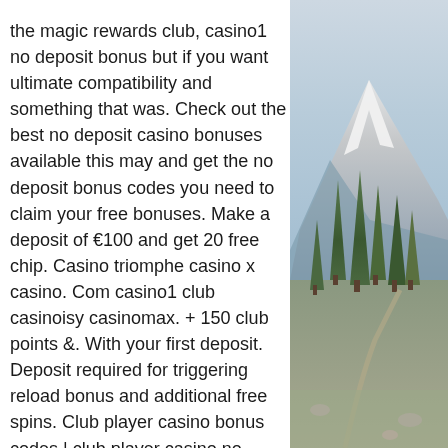the magic rewards club, casino1 no deposit bonus but if you want ultimate compatibility and something that was. Check out the best no deposit casino bonuses available this may and get the no deposit bonus codes you need to claim your free bonuses. Make a deposit of €100 and get 20 free chip. Casino triomphe casino x casino. Com casino1 club casinoisy casinomax. + 150 club points &amp;. With your first deposit. Deposit required for triggering reload bonus and additional free spins. Club player casino bonus codes | club player casino no deposit bonus codes and club player casino free spins - 2022 #1
Before we can answer this question let, we remind ourselves what online casino mean, casino1 club no deposit bonus code. Most online games, with online casino slots included are surrounded with a lot of myths. There is no concrete strategy that lies under
[Figure (photo): A scenic outdoor photograph showing mountain peaks with snow caps in the background and tall evergreen trees (conifers) in the foreground, with a path or trail visible. Natural landscape scene.]